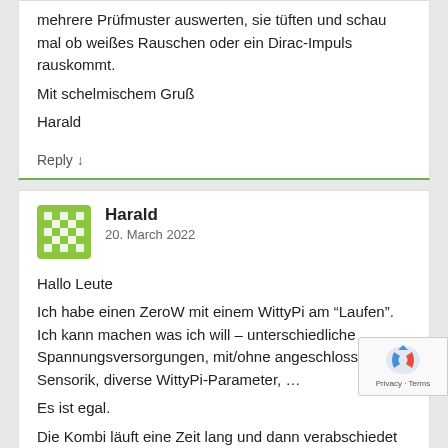mehrere Prüfmuster auswerten, sie tüften und schau mal ob weißes Rauschen oder ein Dirac-Impuls rauskommt.
Mit schelmischem Gruß
Harald
Reply ↓
Harald
20. March 2022
Hallo Leute
Ich habe einen ZeroW mit einem WittyPi am "Laufen". Ich kann machen was ich will – unterschiedliche Spannungsversorgungen, mit/ohne angeschlossener Sensorik, diverse WittyPi-Parameter, …
Es ist egal.
Die Kombi läuft eine Zeit lang und dann verabschiedet sich ins Nirvana (derzeit Stunden). Es leuchten alle LED WittyPi und die grüne am RasPi auf Dauer (für Stunden